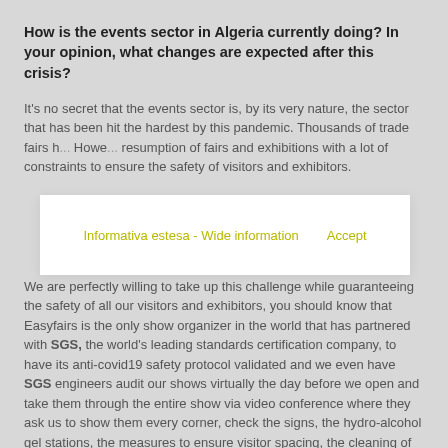How is the events sector in Algeria currently doing? In your opinion, what changes are expected after this crisis?
It's no secret that the events sector is, by its very nature, the sector that has been hit the hardest by this pandemic. Thousands of trade fairs h... Howe... resumption of fairs and exhibitions with a lot of constraints to ensure the safety of visitors and exhibitors.
[Figure (other): Cookie consent popup overlay with text 'Informativa estesa - Wide information' and 'Accept' button in olive/yellow color]
We are perfectly willing to take up this challenge while guaranteeing the safety of all our visitors and exhibitors, you should know that Easyfairs is the only show organizer in the world that has partnered with SGS, the world's leading standards certification company, to have its anti-covid19 safety protocol validated and we even have SGS engineers audit our shows virtually the day before we open and take them through the entire show via video conference where they ask us to show them every corner, check the signs, the hydro-alcohol gel stations, the measures to ensure visitor spacing, the cleaning of the washrooms etc... It is this level of security that we offer to our